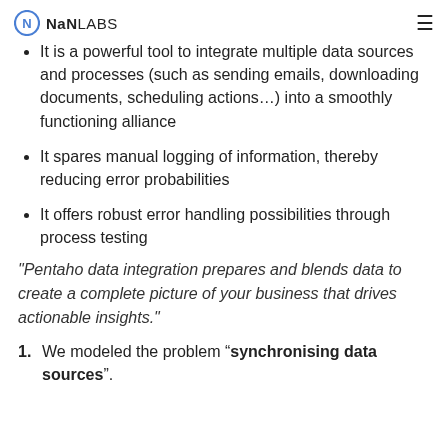NaNLABS
It is a powerful tool to integrate multiple data sources and processes (such as sending emails, downloading documents, scheduling actions…) into a smoothly functioning alliance
It spares manual logging of information, thereby reducing error probabilities
It offers robust error handling possibilities through process testing
"Pentaho data integration prepares and blends data to create a complete picture of your business that drives actionable insights."
1. We modeled the problem “synchronising data sources”.